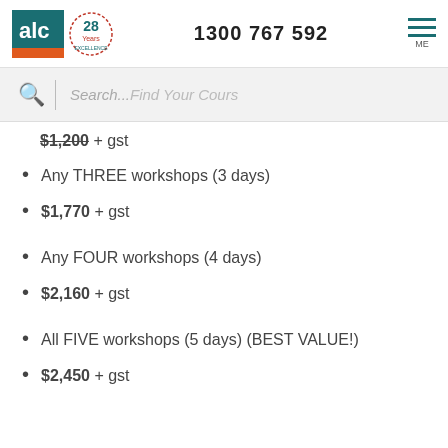[Figure (logo): ALC logo with teal square and orange bar, plus 28 Years anniversary badge]
1300 767 592
[Figure (other): Hamburger menu icon with three teal lines and ME label]
Search...Find Your Course
$1,200 + gst (truncated/partially visible)
Any THREE workshops (3 days)
$1,770 + gst
Any FOUR workshops (4 days)
$2,160 + gst
All FIVE workshops (5 days) (BEST VALUE!)
$2,450 + gst